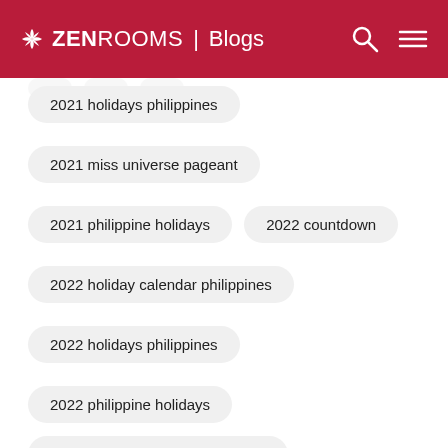ZenRooms | Blogs
2021 holidays philippines
2021 miss universe pageant
2021 philippine holidays
2022 countdown
2022 holiday calendar philippines
2022 holidays philippines
2022 philippine holidays
24 hours massage spa in manila
25 doktrina ng iglesia ni cristo